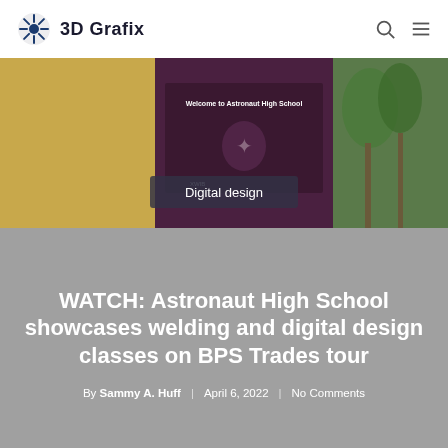3D Grafix
[Figure (photo): Welcome to Astronaut High School sign with school logo, palm trees in background. A 'Digital design' badge overlays the lower center of the image.]
WATCH: Astronaut High School showcases welding and digital design classes on BPS Trades tour
By Sammy A. Huff | April 6, 2022 | No Comments